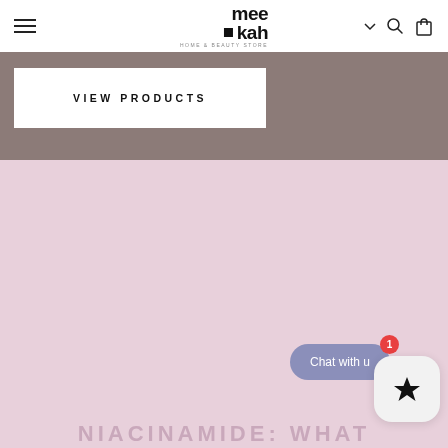meekah — navigation header with hamburger menu, logo, search and cart icons
[Figure (screenshot): Taupe/grey banner with white button reading VIEW PRODUCTS]
VIEW PRODUCTS
[Figure (illustration): Large pink/mauve solid color block section]
NIACINAMIDE: WHAT
[Figure (screenshot): Chat with us button (purple pill shape) with red badge showing 1, and a white rounded square star button]